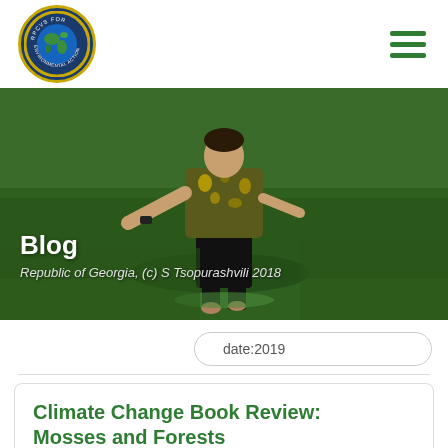[Figure (logo): RPCVS FOR ENVIRONMENTAL ACTION circular logo with globe/earth image, gold and blue border]
[Figure (photo): Person in floral shirt wading through a green river or shallow water, Republic of Georgia, (c) S Tsopurashvili 2018]
Blog
Republic of Georgia, (c) S Tsopurashvili 2018
date:2019
Climate Change Book Review: Mosses and Forests